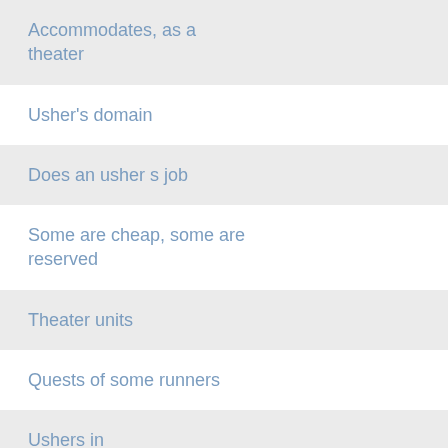Accommodates, as a theater
Usher's domain
Does an usher s job
Some are cheap, some are reserved
Theater units
Quests of some runners
Ushers in
Box office items
Ushers in